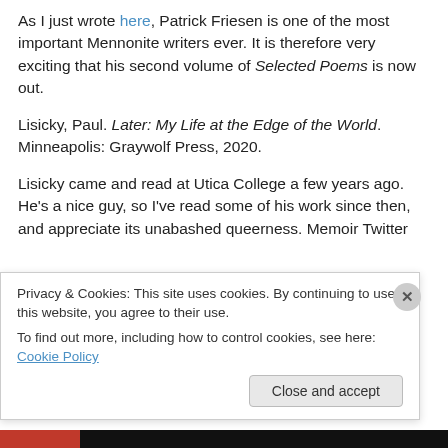As I just wrote here, Patrick Friesen is one of the most important Mennonite writers ever. It is therefore very exciting that his second volume of Selected Poems is now out.
Lisicky, Paul. Later: My Life at the Edge of the World. Minneapolis: Graywolf Press, 2020.
Lisicky came and read at Utica College a few years ago. He's a nice guy, so I've read some of his work since then, and appreciate its unabashed queerness. Memoir Twitter
Privacy & Cookies: This site uses cookies. By continuing to use this website, you agree to their use.
To find out more, including how to control cookies, see here: Cookie Policy